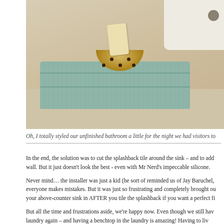[Figure (photo): A bathroom countertop scene showing a folded sage green towel with a small ceramic dotted bowl containing a bar of soap on top, next to a white sink in the upper right corner.]
Oh, I totally styled our unfinished bathroom a little for the night we had visitors to
In the end, the solution was to cut the splashback tile around the sink – and to add wall. But it just doesn't look the best - even with Mr Nerd's impeccable silicone.
Never mind… the installer was just a kid (he sort of reminded us of Jay Baruchel, everyone makes mistakes. But it was just so frustrating and completely brought ou your above-counter sink in AFTER you tile the splashback if you want a perfect fi
But all the time and frustrations aside, we're happy now. Even though we still hav laundry again – and having a benchtop in the laundry is amazing! Having to liv